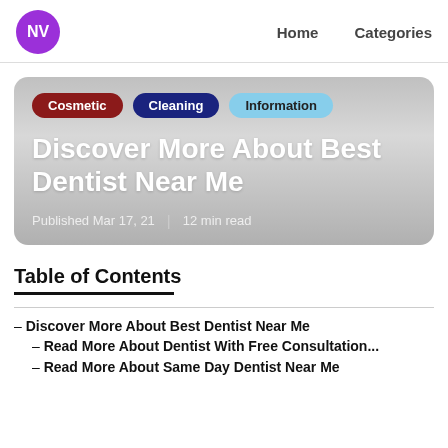NV  Home  Categories
[Figure (screenshot): Hero card with tags Cosmetic, Cleaning, Information and title 'Discover More About Best Dentist Near Me', published Mar 17, 21 | 12 min read]
Table of Contents
– Discover More About Best Dentist Near Me
– Read More About Dentist With Free Consultation...
– Read More About Same Day Dentist Near Me